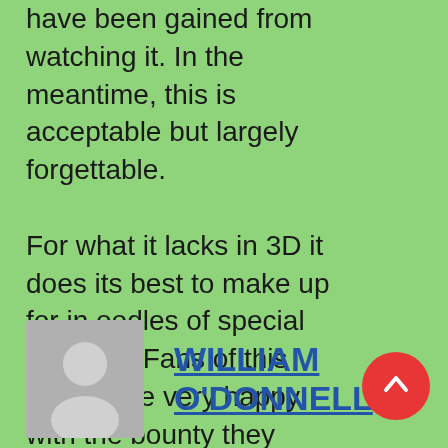have been gained from watching it. In the meantime, this is acceptable but largely forgettable.

For what it lacks in 3D it does its best to make up for in oodles of special features. Fans of this film will be very happy with the bounty they recieve on that front.
[Figure (illustration): Avatar placeholder image showing a generic person silhouette on grey background]
WILLIAM O'DONNELL